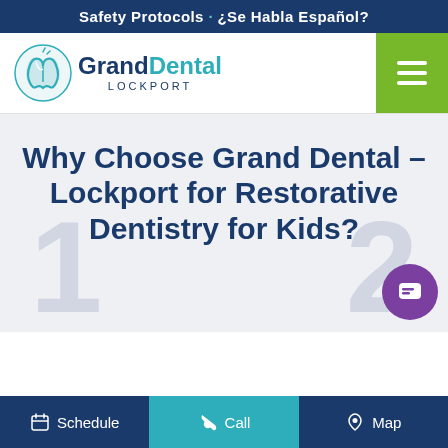Safety Protocols · ¿Se Habla Español?
[Figure (logo): Grand Dental Lockport logo with tooth icon and hamburger menu button]
Why Choose Grand Dental – Lockport for Restorative Dentistry for Kids?
Schedule  Call  Map